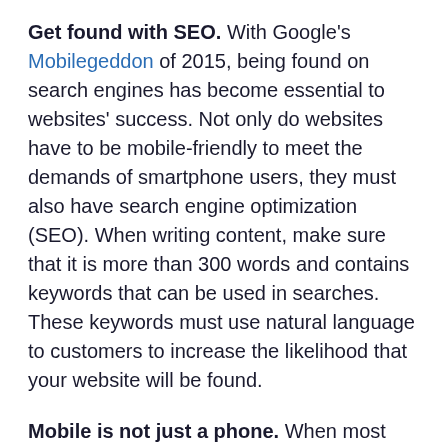Get found with SEO. With Google's Mobilegeddon of 2015, being found on search engines has become essential to websites' success. Not only do websites have to be mobile-friendly to meet the demands of smartphone users, they must also have search engine optimization (SEO). When writing content, make sure that it is more than 300 words and contains keywords that can be used in searches. These keywords must use natural language to customers to increase the likelihood that your website will be found.
Mobile is not just a phone. When most people think of mobile Internet-connected devices, they think of smartphones. Wearable devices like Apple Watches and Fitbits are becoming more popular as the Internet of Things movement takes off. In the next year, wearable devices will